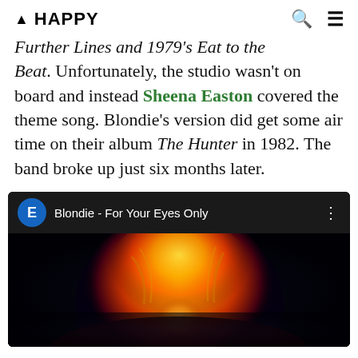▲ HAPPY
Further Lines and 1979's Eat to the Beat. Unfortunately, the studio wasn't on board and instead Sheena Easton covered the theme song. Blondie's version did get some air time on their album The Hunter in 1982. The band broke up just six months later.
[Figure (screenshot): YouTube-style video player showing 'Blondie - For Your Eyes Only' with a blue avatar circle with letter E, three-dot menu icon, and a thumbnail showing a thermal/infrared-style image of a blonde figure against a dark background with orange and yellow tones.]